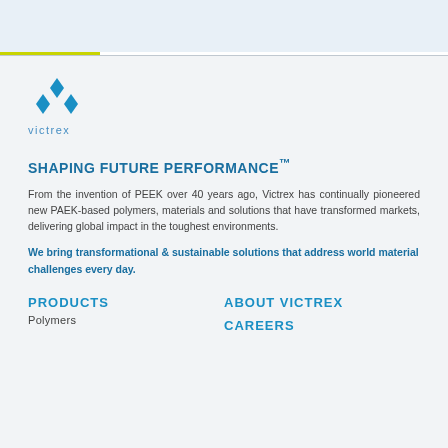[Figure (logo): Victrex logo — three blue diamond shapes arranged as a triangle above the text 'victrex' in blue lowercase letters]
SHAPING FUTURE PERFORMANCE™
From the invention of PEEK over 40 years ago, Victrex has continually pioneered new PAEK-based polymers, materials and solutions that have transformed markets, delivering global impact in the toughest environments.
We bring transformational & sustainable solutions that address world material challenges every day.
PRODUCTS
ABOUT VICTREX
Polymers
CAREERS